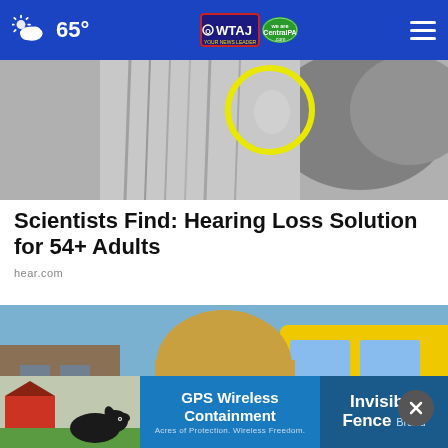65° WTAJ CentralPA.com
[Figure (photo): Grayscale photo of a woman with long gray hair, a yellow circle highlight near her ear, outdoors]
Scientists Find: Hearing Loss Solution for 54+ Adults
hear.com
[Figure (photo): Color photo of a smiling blonde woman holding small hearing aid devices in each hand, yellow bus in background]
[Figure (photo): Advertisement banner: GPS Wireless Containment / Invisible Fence Brand, with photo of black dog on grass]